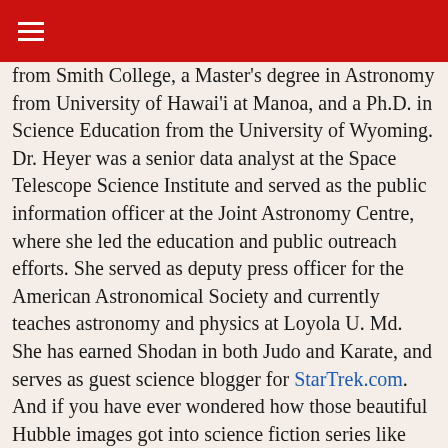≡
from Smith College, a Master's degree in Astronomy from University of Hawai'i at Manoa, and a Ph.D. in Science Education from the University of Wyoming. Dr. Heyer was a senior data analyst at the Space Telescope Science Institute and served as the public information officer at the Joint Astronomy Centre, where she led the education and public outreach efforts. She served as deputy press officer for the American Astronomical Society and currently teaches astronomy and physics at Loyola U. Md.
She has earned Shodan in both Judo and Karate, and serves as guest science blogger for StarTrek.com. And if you have ever wondered how those beautiful Hubble images got into science fiction series like Babylon-5 and Star Trek, Inge is the trouble-maker who instigated this. Visit her at ingeheyer.com.